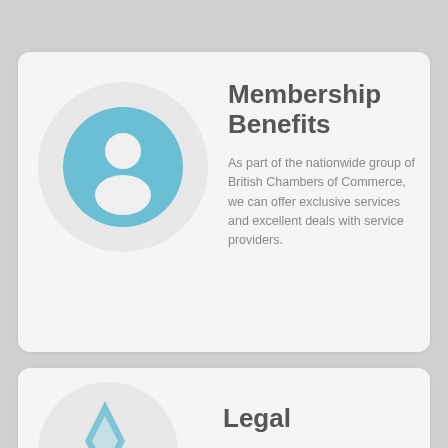[Figure (illustration): Blue person/user icon inside a light blue circle, set on a light grey circle background, inside a light grey card]
Membership Benefits
As part of the nationwide group of British Chambers of Commerce, we can offer exclusive services and excellent deals with service providers.
Legal